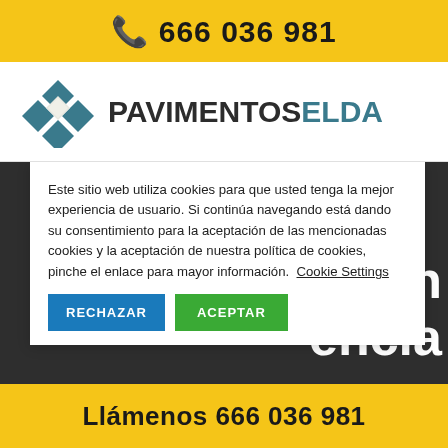☎ 666 036 981
[Figure (logo): Pavimentos Elda logo with diamond/tile geometric icon in dark teal and white, followed by bold text PAVIMENTOS ELDA]
Este sitio web utiliza cookies para que usted tenga la mejor experiencia de usuario. Si continúa navegando está dando su consentimiento para la aceptación de las mencionadas cookies y la aceptación de nuestra política de cookies, pinche el enlace para mayor información. Cookie Settings
RECHAZAR
ACEPTAR
nigon encia
Llámenos 666 036 981